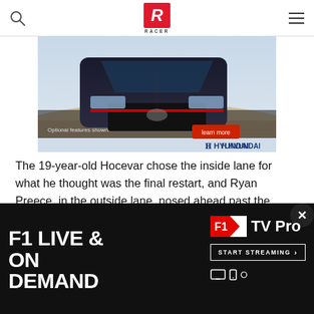RACER (logo)
[Figure (photo): Hyundai car advertisement showing a dark-colored Hyundai sedan driving on a desert road. Text reads 'Optional features shown.' and 'learn more' button, with Hyundai logo at bottom right.]
The 19-year-old Hocevar chose the inside lane for what he thought was the final restart, and Ryan Preece, in the outside lane, nosed ahead past the start/finish line when Chastain spun his tires and failed to provide Hocevar with a push.
[Figure (infographic): F1 TV Pro advertisement banner on black background. Left side: large bold white text reading 'F1 LIVE & ON DEMAND'. Right side: F1 logo in red/white with 'TV Pro' text, a 'START STREAMING >' button, and device icons at bottom. Close X button at top right.]